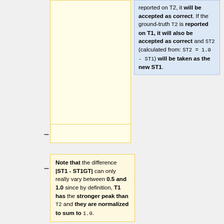reported on T2, it will be accepted as correct. If the ground-truth T2 is reported on T1, it will also be accepted as correct and ST2 (calculated from: ST2 = 1.0 - ST1) will be taken as the new ST1.
Note that the difference |ST1 - ST1GT| can only really vary between 0.5 and 1.0 since by definition, T1 has the stronger peak than T2 and they are normalized to sum to 1.0.